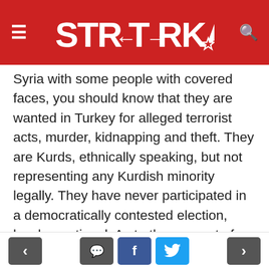STRATORKA
Syria with some people with covered faces, you should know that they are wanted in Turkey for alleged terrorist acts, murder, kidnapping and theft. They are Kurds, ethnically speaking, but not representing any Kurdish minority legally. They have never participated in a democratically contested election, local or national. As to the concept of cantons as a name of an administrative division, it traditionally refers to those in Switzerland, which correspond to the states in the U.S. and Germany. Yet, because of the nature of these units in those countries, all these words bring a democratic and legal federation to mind. It sounds as if the unified and centrally run Syria has been dismembered, its constitution rewritten and now the country has ethnic or geographic...
< [comment] [f] [twitter] >